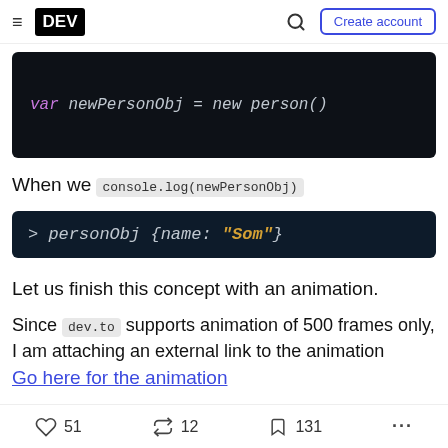DEV | Create account
[Figure (screenshot): Dark code block showing: var newPersonObj = new person()]
When we console.log(newPersonObj)
[Figure (screenshot): Dark output block showing: > personObj {name: "Som"}]
Let us finish this concept with an animation.
Since dev.to supports animation of 500 frames only, I am attaching an external link to the animation
Go here for the animation
51 | 12 | 131